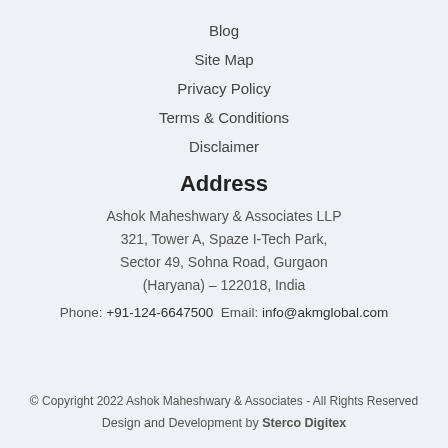Blog
Site Map
Privacy Policy
Terms & Conditions
Disclaimer
Address
Ashok Maheshwary & Associates LLP
321, Tower A, Spaze I-Tech Park,
Sector 49, Sohna Road, Gurgaon
(Haryana) – 122018, India
Phone: +91-124-6647500 Email: info@akmglobal.com
© Copyright 2022 Ashok Maheshwary & Associates - All Rights Reserved
Design and Development by Sterco Digitex